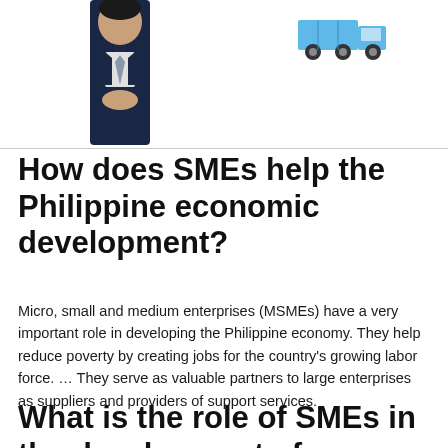[Figure (photo): Top portion shows a man in a dark suit and tie with hands clasped, and a small truck/lorry icon illustration to the upper right]
How does SMEs help the Philippine economic development?
Micro, small and medium enterprises (MSMEs) have a very important role in developing the Philippine economy. They help reduce poverty by creating jobs for the country's growing labor force. … They serve as valuable partners to large enterprises as suppliers and providers of support services.
What is the role of SMEs in the development of any